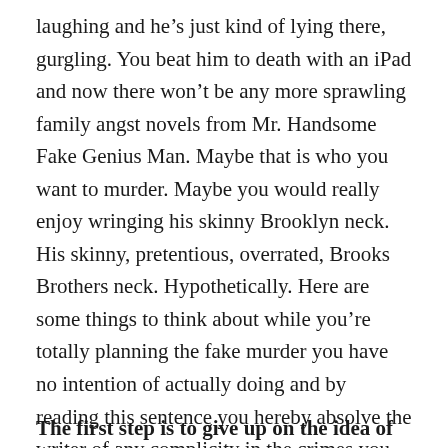laughing and he’s just kind of lying there, gurgling. You beat him to death with an iPad and now there won’t be any more sprawling family angst novels from Mr. Handsome Fake Genius Man. Maybe that is who you want to murder. Maybe you would really enjoy wringing his skinny Brooklyn neck. His skinny, pretentious, overrated, Brooks Brothers neck. Hypothetically. Here are some things to think about while you’re totally planning the fake murder you have no intention of actually doing and by reading this sentence you hereby absolve the writer of any complicity in the crimes you will in no way go out and commit here comes the period and Jim is absolved.
The first step is to give up on the idea of